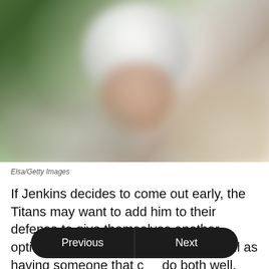[Figure (photo): Blurred photo of a football player wearing a white helmet, viewed close up. The background is blurred with green tones suggesting a sports field or stadium environment.]
Elsa/Getty Images
If Jenkins decides to come out early, the Titans may want to add him to their defense to give themselves another option rushing the quarterbacks as well as having someone that can do both well.